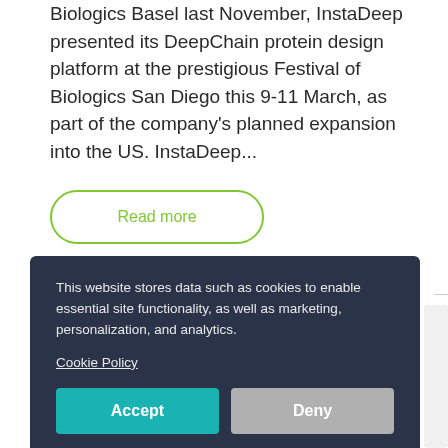Biologics Basel last November, InstaDeep presented its DeepChain protein design platform at the prestigious Festival of Biologics San Diego this 9-11 March, as part of the company's planned expansion into the US. InstaDeep...
Read more
This website stores data such as cookies to enable essential site functionality, as well as marketing, personalization, and analytics.

Cookie Policy

Accept  Deny